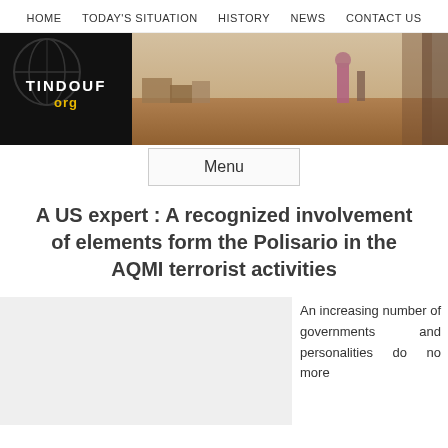HOME   TODAY'S SITUATION   HISTORY   NEWS   CONTACT US
[Figure (photo): Website banner for tindouf.org showing a dark logo on the left with globe graphic and 'TINDOUF org' text, and a panoramic desert/camp scene photo on the right]
Menu
A US expert : A recognized involvement of elements form the Polisario in the AQMI terrorist activities
An increasing number of governments and personalities do no more